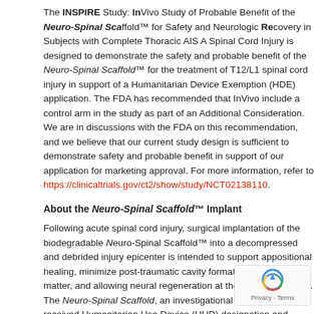The INSPIRE Study: InVivo Study of Probable Benefit of the Neuro-Spinal Scaffold™ for Safety and Neurologic Recovery in Subjects with Complete Thoracic AIS A Spinal Cord Injury is designed to demonstrate the safety and probable benefit of the Neuro-Spinal Scaffold™ for the treatment of T10/T11/T12/L1 spinal cord injury in support of a Humanitarian Device Exemption (HDE) application. The FDA has recommended that InVivo include a control arm in the study as part of an Additional Consideration. We are in discussions with the FDA on this recommendation, and we believe that our current study design is sufficient to demonstrate safety and probable benefit in support of our application for marketing approval. For more information, refer to https://clinicaltrials.gov/ct2/show/study/NCT02138110.
About the Neuro-Spinal Scaffold™ Implant
Following acute spinal cord injury, surgical implantation of the biodegradable Neuro-Spinal Scaffold™ into a decompressed and debrided injury epicenter is intended to support appositional healing, minimize post-traumatic cavity formation, sparing white matter, and allowing neural regeneration at the wound epicenter. The Neuro-Spinal Scaffold, an investigational device, has received Humanitarian Use Device (HUD) designation and currently is being evaluated in the INSPIRE pivotal study for the treatment of patients with complete (AIS A) traumatic acute spinal cord injury.
About InVivo Therapeutics
InVivo Therapeutics Holdings Corp. is a research and clinical-stage biomaterials and biotechnology company with a focus on treatment of spinal cord injuries. The company was founded in 2005.